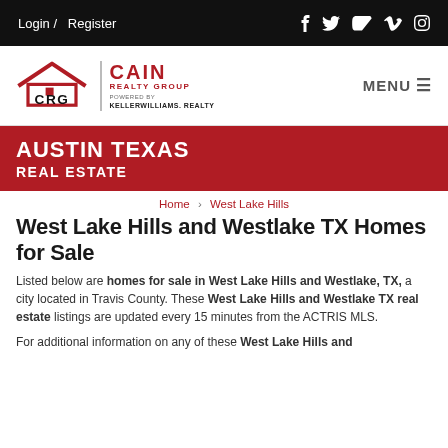Login / Register | Social icons: Facebook, Twitter, YouTube, Vimeo, Instagram
[Figure (logo): CRG / Cain Realty Group logo powered by Keller Williams Realty, with MENU hamburger button on right]
AUSTIN TEXAS REAL ESTATE
Home › West Lake Hills
West Lake Hills and Westlake TX Homes for Sale
Listed below are homes for sale in West Lake Hills and Westlake, TX, a city located in Travis County. These West Lake Hills and Westlake TX real estate listings are updated every 15 minutes from the ACTRIS MLS.
For additional information on any of these West Lake Hills and